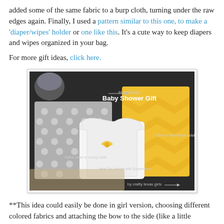added some of the same fabric to a burp cloth, turning under the raw edges again. Finally, I used a pattern similar to this one, to make a 'diaper/wipes' holder or one like this. It's a cute way to keep diapers and wipes organized in your bag.
For more gift ideas, click here.
[Figure (photo): Photo of handmade baby shower gifts including a chevron diaper/wipes clutch, a bow tie onesie with suspenders, and fabric sewn to a burp cloth, by crafty texas girls]
**This idea could easily be done in girl version, choosing different colored fabrics and attaching the bow to the side (like a little brooch!).
And here is the onesie on the cutest little baby boy – don't